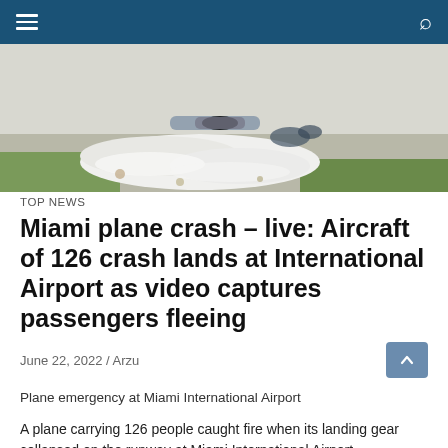TOP NEWS navigation bar
[Figure (photo): Aerial or close-up photo of plane crash scene at Miami International Airport, showing white foam/debris on runway ground with aircraft parts visible]
TOP NEWS
Miami plane crash – live: Aircraft of 126 crash lands at International Airport as video captures passengers fleeing
June 22, 2022 / Arzu
Plane emergency at Miami International Airport
A plane carrying 126 people caught fire when its landing gear collapsed on the runway at Miami International Airport,